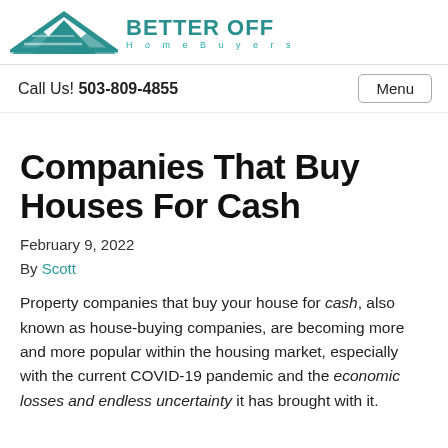[Figure (logo): Better Off HomeBuyers logo with teal roof/house icon and teal text]
Call Us! 503-809-4855   Menu
Companies That Buy Houses For Cash
February 9, 2022
By Scott
Property companies that buy your house for cash, also known as house-buying companies, are becoming more and more popular within the housing market, especially with the current COVID-19 pandemic and the economic losses and endless uncertainty it has brought with it.